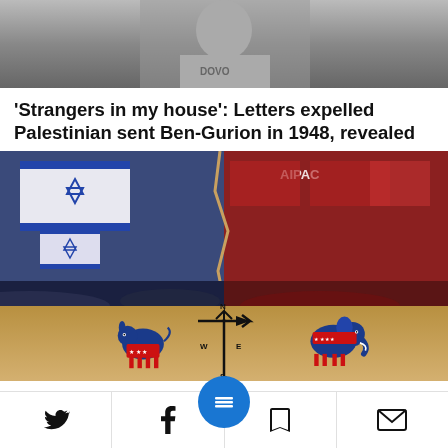[Figure (photo): Black and white photo of a person, cropped at top of page]
'Strangers in my house': Letters expelled Palestinian sent Ben-Gurion in 1948, revealed
[Figure (photo): Composite political image showing AIPAC conference with Israeli and American flags split between blue/Democratic and red/Republican sides, with Democratic donkey and Republican elephant symbols on a tan background at bottom]
AIPAC vs. American Je... toxic victories of the
Social share bar with Twitter, Facebook, menu button, bookmark, and email icons